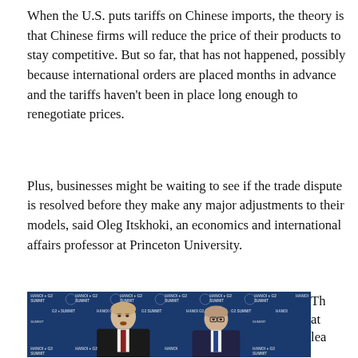When the U.S. puts tariffs on Chinese imports, the theory is that Chinese firms will reduce the price of their products to stay competitive. But so far, that has not happened, possibly because international orders are placed months in advance and the tariffs haven't been in place long enough to renegotiate prices.
Plus, businesses might be waiting to see if the trade dispute is resolved before they make any major adjustments to their models, said Oleg Itskhoki, an economics and international affairs professor at Princeton University.
[Figure (photo): Photo of two men (likely Donald Trump and Mike Pompeo) at a press conference with HANOI G2 SUMMIT branded backdrop visible in the background.]
That lea